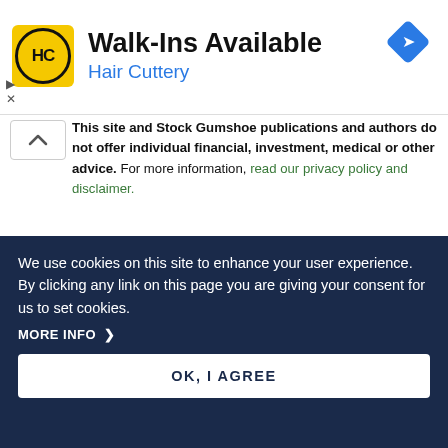[Figure (advertisement): Hair Cuttery ad banner with yellow HC logo, text 'Walk-Ins Available' and 'Hair Cuttery', blue diamond navigation icon top right, play and close controls bottom left]
This site and Stock Gumshoe publications and authors do not offer individual financial, investment, medical or other advice. For more information, read our privacy policy and disclaimer.
Contact Us
We use cookies on this site to enhance your user experience. By clicking any link on this page you are giving your consent for us to set cookies.
MORE INFO >
OK, I AGREE